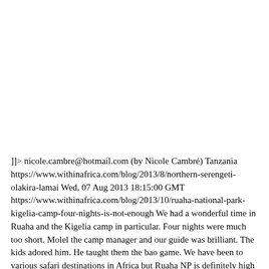]]> nicole.cambre@hotmail.com (by Nicole Cambré) Tanzania https://www.withinafrica.com/blog/2013/8/northern-serengeti-olakira-lamai Wed, 07 Aug 2013 18:15:00 GMT https://www.withinafrica.com/blog/2013/10/ruaha-national-park-kigelia-camp-four-nights-is-not-enough We had a wonderful time in Ruaha and the Kigelia camp in particular. Four nights were much too short. Molel the camp manager and our guide was brilliant. The kids adored him. He taught them the bao game. We have been to various safari destinations in Africa but Ruaha NP is definitely high in our top 3.